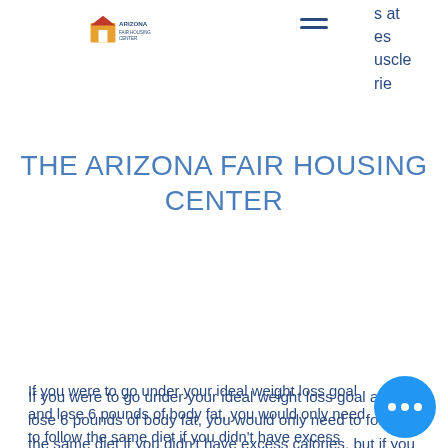Arizona Fair Housing Center — logo and navigation
THE ARIZONA FAIR HOUSING CENTER
If you were to go under your ideal weight loss goal and lose 6 pounds of body fat, you would only need to follow the same diet if you didn't have excess calories, but if you did you would definitely cut back on calories, bulking 300 calorie surplus.
Let's break this down, bulking season start. Let's say I wanted to gain 10 pounds of muscle per month, so I would need to lose 10 pounds of body fat each month. That would mean that if I kept my ideal calorie deficit of 1,000 calories